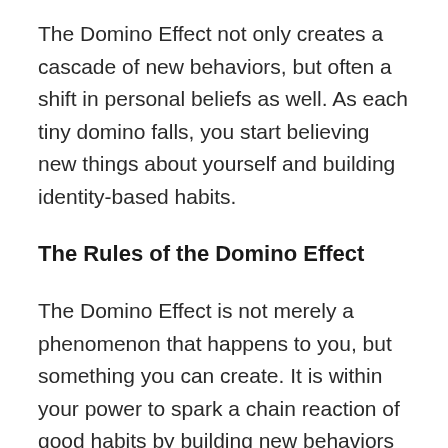The Domino Effect not only creates a cascade of new behaviors, but often a shift in personal beliefs as well. As each tiny domino falls, you start believing new things about yourself and building identity-based habits.
The Rules of the Domino Effect
The Domino Effect is not merely a phenomenon that happens to you, but something you can create. It is within your power to spark a chain reaction of good habits by building new behaviors that naturally lead to the next successful action.
There are three keys to making this work in real life. Here are the three rules of the Domino Effect: